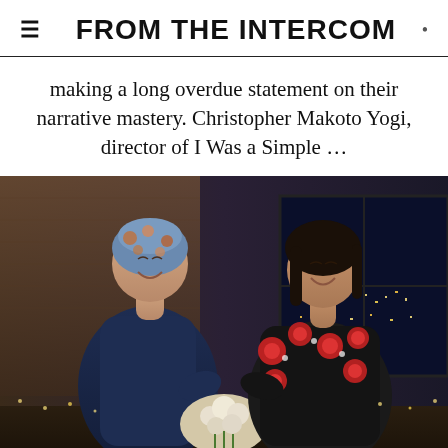FROM THE INTERCOM
making a long overdue statement on their narrative mastery. Christopher Makoto Yogi, director of I Was a Simple …
[Figure (photo): Two women smiling and facing each other indoors. The woman on the left wears a floral head wrap and a navy blue dress. The woman on the right has long dark hair and wears a black floral top. There are flowers and a cityscape window in the background.]